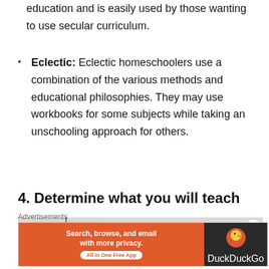education and is easily used by those wanting to use secular curriculum.
Eclectic: Eclectic homeschoolers use a combination of the various methods and educational philosophies. They may use workbooks for some subjects while taking an unschooling approach for others.
4. Determine what you will teach
[Figure (photo): A classroom calendar hanging on a beige wall]
Advertisements
[Figure (screenshot): DuckDuckGo advertisement banner: Search, browse, and email with more privacy. All in One Free App]